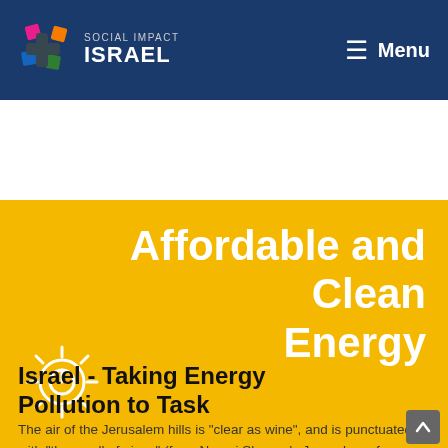Social Impact Israel — Menu
Affordable and Clean Energy
[Figure (illustration): Yellow banner with sun/power icon and white text 'Affordable and Clean Energy']
Israel - Taking Energy Pollution to Task
The air of the Jerusalem hills is "clear as wine", and is punctuated with "the smell of pines" (from Naomi Shemer's Jerusalem of